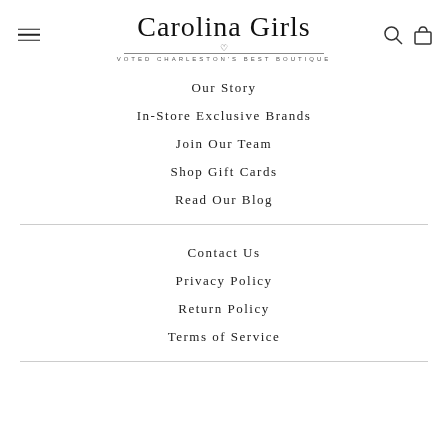Carolina Girls — VOTED CHARLESTON'S BEST BOUTIQUE
Our Story
In-Store Exclusive Brands
Join Our Team
Shop Gift Cards
Read Our Blog
Contact Us
Privacy Policy
Return Policy
Terms of Service